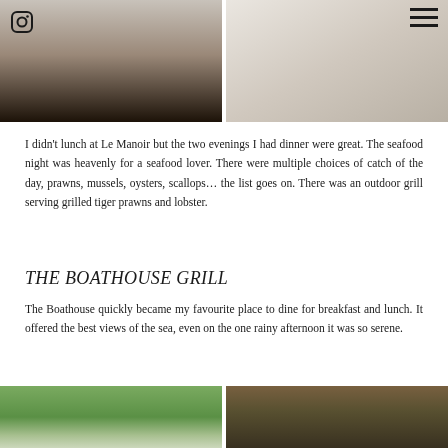[Figure (photo): Two photos at top of page: left shows a dark-toned portrait/outdoor scene, right shows a light-toned food or object photo on pale background]
I didn't lunch at Le Manoir but the two evenings I had dinner were great. The seafood night was heavenly for a seafood lover. There were multiple choices of catch of the day, prawns, mussels, oysters, scallops… the list goes on. There was an outdoor grill serving grilled tiger prawns and lobster.
THE BOATHOUSE GRILL
The Boathouse quickly became my favourite place to dine for breakfast and lunch. It offered the best views of the sea, even on the one rainy afternoon it was so serene.
[Figure (photo): Two photos at bottom: left shows a palm tree against a cloudy sky, right shows a rustic wooden ceiling/roof structure of the Boathouse]